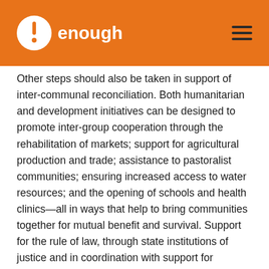enough
Other steps should also be taken in support of inter-communal reconciliation. Both humanitarian and development initiatives can be designed to promote inter-group cooperation through the rehabilitation of markets; support for agricultural production and trade; assistance to pastoralist communities; ensuring increased access to water resources; and the opening of schools and health clinics—all in ways that help to bring communities together for mutual benefit and survival. Support for the rule of law, through state institutions of justice and in coordination with support for traditional reconciliation processes and actors, is also a critical element. As many displaced Chadians told us, and one elder summarized, “If we go back to our homes and there is no rule of law, we will take our revenge eventually. But if the rule of law is established, we can co-exist.” [7]